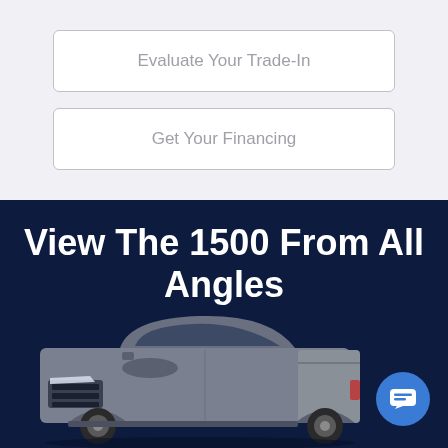Evaluate Your Trade-In
Get Your Financing
View The 1500 From All Angles
[Figure (photo): Gray Ram 1500 pickup truck shown from the front 3/4 angle on a dark navy background, with a blue chat button in the lower right corner]